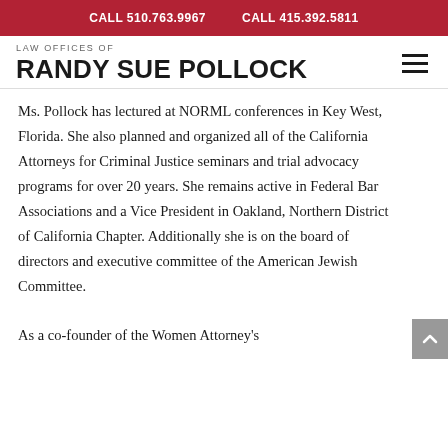CALL 510.763.9967   CALL 415.392.5811
LAW OFFICES OF RANDY SUE POLLOCK
Ms. Pollock has lectured at NORML conferences in Key West, Florida. She also planned and organized all of the California Attorneys for Criminal Justice seminars and trial advocacy programs for over 20 years. She remains active in Federal Bar Associations and a Vice President in Oakland, Northern District of California Chapter. Additionally she is on the board of directors and executive committee of the American Jewish Committee.

As a co-founder of the Women Attorney's